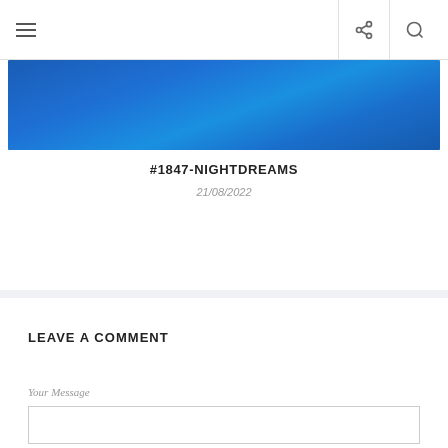Navigation header with hamburger menu, share icon, and search icon
[Figure (photo): Blue textured banner image at top of post card]
#1847-NIGHTDREAMS
21/08/2022
LEAVE A COMMENT
Your Message